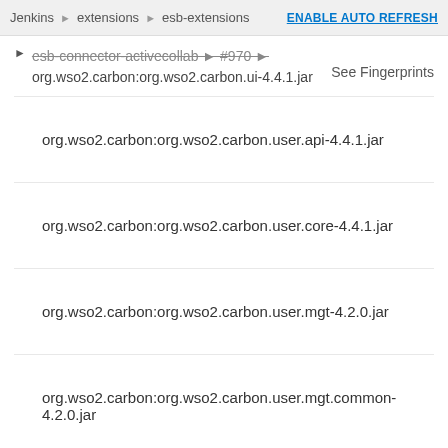Jenkins > extensions > esb-extensions  ENABLE AUTO REFRESH
esb-connector-activecollab  #970  org.wso2.carbon:org.wso2.carbon.ui-4.4.1.jar  See Fingerprints
org.wso2.carbon:org.wso2.carbon.user.api-4.4.1.jar
org.wso2.carbon:org.wso2.carbon.user.core-4.4.1.jar
org.wso2.carbon:org.wso2.carbon.user.mgt-4.2.0.jar
org.wso2.carbon:org.wso2.carbon.user.mgt.common-4.2.0.jar